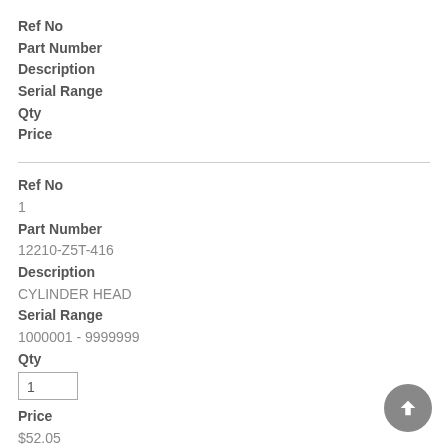Ref No
Part Number
Description
Serial Range
Qty
Price
Ref No
1
Part Number
12210-Z5T-416
Description
CYLINDER HEAD
Serial Range
1000001 - 9999999
Qty
1
Price
$52.05